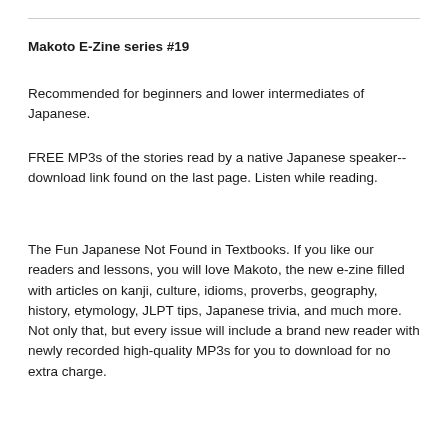Makoto E-Zine series #19
Recommended for beginners and lower intermediates of Japanese.
FREE MP3s of the stories read by a native Japanese speaker--download link found on the last page. Listen while reading.
The Fun Japanese Not Found in Textbooks. If you like our readers and lessons, you will love Makoto, the new e-zine filled with articles on kanji, culture, idioms, proverbs, geography, history, etymology, JLPT tips, Japanese trivia, and much more. Not only that, but every issue will include a brand new reader with newly recorded high-quality MP3s for you to download for no extra charge.